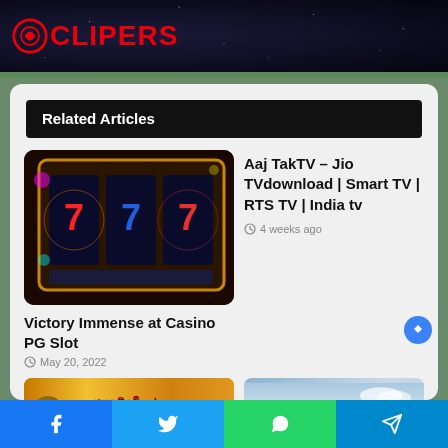SCLIPERS
Related Articles
[Figure (photo): Casino slot machine with 7 symbols, colorful reels lit with gold and blue lights]
Victory Immense at Casino PG Slot
May 20, 2022
Aaj TakTV – Jio TVdownload | Smart TV | RTS TV | India tv
4 weeks ago
[Figure (photo): Thai casino membership banner with golden background and Thai text สมาชิกใหม่]
[Figure (photo): Modern casino building exterior with glass facade against blue sky]
Social share buttons: Facebook, Twitter, WhatsApp, Telegram